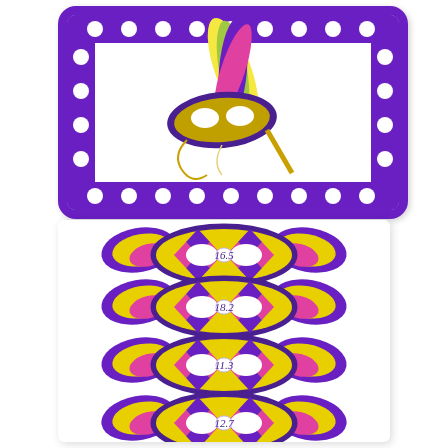[Figure (illustration): Mardi Gras mask illustration with feathers and decorations inside a purple polka-dot bordered card]
[Figure (illustration): Four colorful Mardi Gras masks arranged vertically, each with yellow/purple/pink diamond pattern and a number label in the center: 16.5, 18.2, 11.3, 12.7]